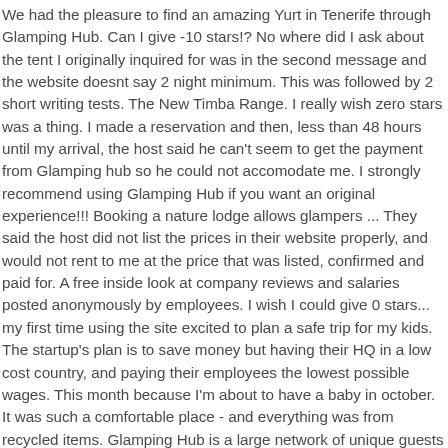We had the pleasure to find an amazing Yurt in Tenerife through Glamping Hub. Can I give -10 stars!? No where did I ask about the tent I originally inquired for was in the second message and the website doesnt say 2 night minimum. This was followed by 2 short writing tests. The New Timba Range. I really wish zero stars was a thing. I made a reservation and then, less than 48 hours until my arrival, the host said he can't seem to get the payment from Glamping hub so he could not accomodate me. I strongly recommend using Glamping Hub if you want an original experience!!! Booking a nature lodge allows glampers ... They said the host did not list the prices in their website properly, and would not rent to me at the price that was listed, confirmed and paid for. A free inside look at company reviews and salaries posted anonymously by employees. I wish I could give 0 stars... my first time using the site excited to plan a safe trip for my kids. The startup's plan is to save money but having their HQ in a low cost country, and paying their employees the lowest possible wages. This month because I'm about to have a baby in october. It was such a comfortable place - and everything was from recycled items. Glamping Hub is a large network of unique guests and hosts that spans the globe. England. You'll love the hammock and sleeping in the cedar forest. To late for us to find something else. Only